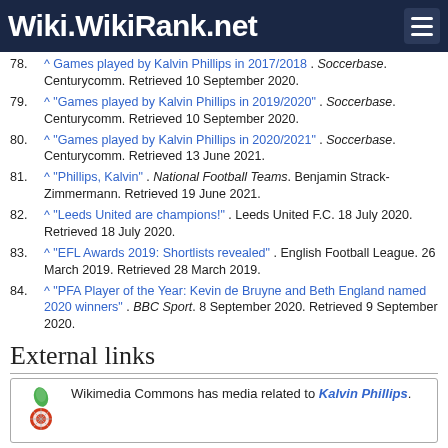Wiki.WikiRank.net
78. ^ Games played by Kalvin Phillips in 2017/2018 . Soccerbase. Centurycomm. Retrieved 10 September 2020.
79. ^ "Games played by Kalvin Phillips in 2019/2020" . Soccerbase. Centurycomm. Retrieved 10 September 2020.
80. ^ "Games played by Kalvin Phillips in 2020/2021" . Soccerbase. Centurycomm. Retrieved 13 June 2021.
81. ^ "Phillips, Kalvin" . National Football Teams. Benjamin Strack-Zimmermann. Retrieved 19 June 2021.
82. ^ "Leeds United are champions!" . Leeds United F.C. 18 July 2020. Retrieved 18 July 2020.
83. ^ "EFL Awards 2019: Shortlists revealed" . English Football League. 26 March 2019. Retrieved 28 March 2019.
84. ^ "PFA Player of the Year: Kevin de Bruyne and Beth England named 2020 winners" . BBC Sport. 8 September 2020. Retrieved 9 September 2020.
External links
Wikimedia Commons has media related to Kalvin Phillips.